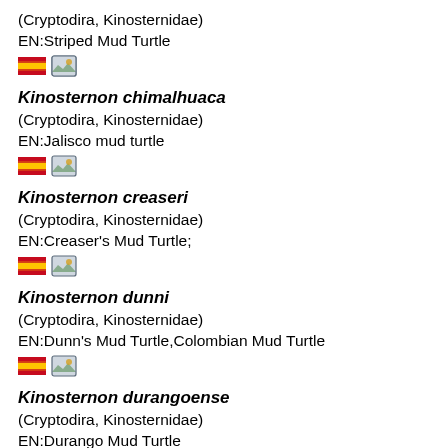(Cryptodira, Kinosternidae)
EN:Striped Mud Turtle
[Figure (other): Spain flag icon and image/photo icon]
Kinosternon chimalhuaca
(Cryptodira, Kinosternidae)
EN:Jalisco mud turtle
[Figure (other): Spain flag icon and image/photo icon]
Kinosternon creaseri
(Cryptodira, Kinosternidae)
EN:Creaser's Mud Turtle;
[Figure (other): Spain flag icon and image/photo icon]
Kinosternon dunni
(Cryptodira, Kinosternidae)
EN:Dunn's Mud Turtle,Colombian Mud Turtle
[Figure (other): Spain flag icon and image/photo icon]
Kinosternon durangoense
(Cryptodira, Kinosternidae)
EN:Durango Mud Turtle